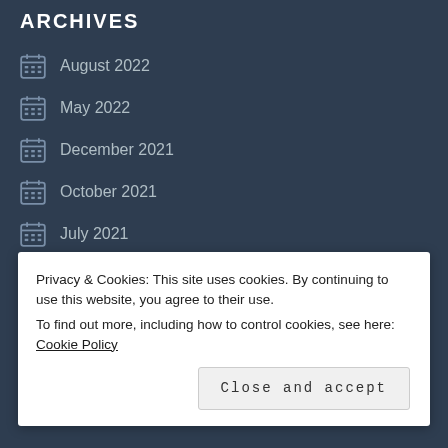ARCHIVES
August 2022
May 2022
December 2021
October 2021
July 2021
June 2021
April 2021
March 2021
Privacy & Cookies: This site uses cookies. By continuing to use this website, you agree to their use.
To find out more, including how to control cookies, see here: Cookie Policy
Close and accept